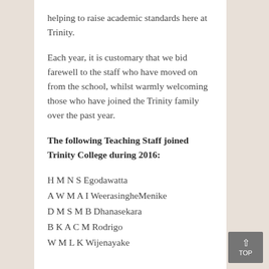helping to raise academic standards here at Trinity.
Each year, it is customary that we bid farewell to the staff who have moved on from the school, whilst warmly welcoming those who have joined the Trinity family over the past year.
The following Teaching Staff joined Trinity College during 2016:
H M N S Egodawatta
A W M A I WeerasingheMenike
D M S M B Dhanasekara
B K A C M Rodrigo
W M L K Wijenayake